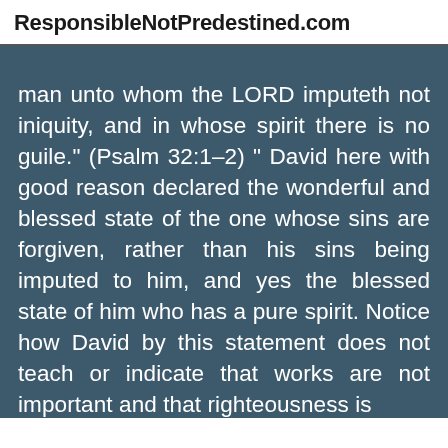ResponsibleNotPredestined.com
man unto whom the LORD imputeth not iniquity, and in whose spirit there is no guile." (Psalm 32:1–2) " David here with good reason declared the wonderful and blessed state of the one whose sins are forgiven, rather than his sins being imputed to him, and yes the blessed state of him who has a pure spirit. Notice how David by this statement does not teach or indicate that works are not important and that righteousness is